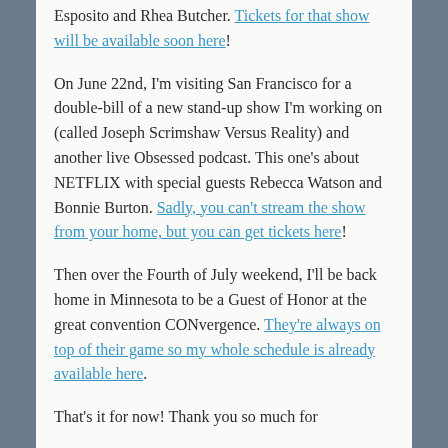Esposito and Rhea Butcher. Tickets for that show will be available soon here!
On June 22nd, I'm visiting San Francisco for a double-bill of a new stand-up show I'm working on (called Joseph Scrimshaw Versus Reality) and another live Obsessed podcast. This one's about NETFLIX with special guests Rebecca Watson and Bonnie Burton. Sadly, you can't stream the show from your home, but you can get tickets here!
Then over the Fourth of July weekend, I'll be back home in Minnesota to be a Guest of Honor at the great convention CONvergence. They're always on top of their game so my whole schedule is already available here.
That's it for now! Thank you so much for